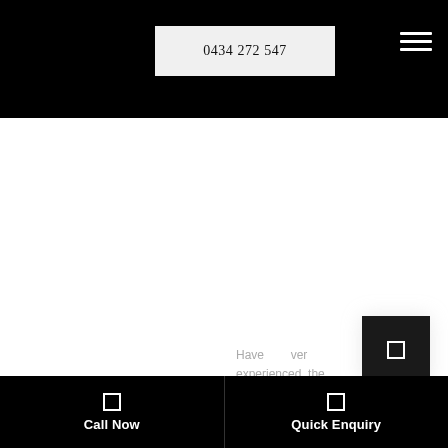0434 272 547
[Figure (screenshot): White main content area, largely blank]
Have [icon] ver experienced the [partial text continues below]
Call Now
Quick Enquiry